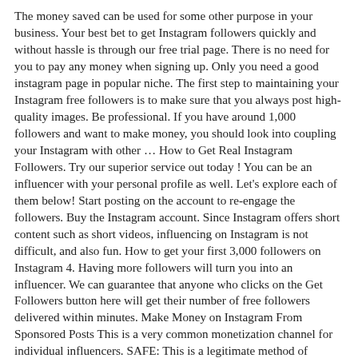The money saved can be used for some other purpose in your business. Your best bet to get Instagram followers quickly and without hassle is through our free trial page. There is no need for you to pay any money when signing up. Only you need a good instagram page in popular niche. The first step to maintaining your Instagram free followers is to make sure that you always post high-quality images. Be professional. If you have around 1,000 followers and want to make money, you should look into coupling your Instagram with other … How to Get Real Instagram Followers. Try our superior service out today ! You can be an influencer with your personal profile as well. Let's explore each of them below! Start posting on the account to re-engage the followers. Buy the Instagram account. Since Instagram offers short content such as short videos, influencing on Instagram is not difficult, and also fun. How to get your first 3,000 followers on Instagram 4. Having more followers will turn you into an influencer. We can guarantee that anyone who clicks on the Get Followers button here will get their number of free followers delivered within minutes. Make Money on Instagram From Sponsored Posts This is a very common monetization channel for individual influencers. SAFE: This is a legitimate method of getting followers on Instagram. Making money on Instagram can seem like a challenge if you don't have at least 10,000 followers already. The categories including beauty, food, fashion and fitness